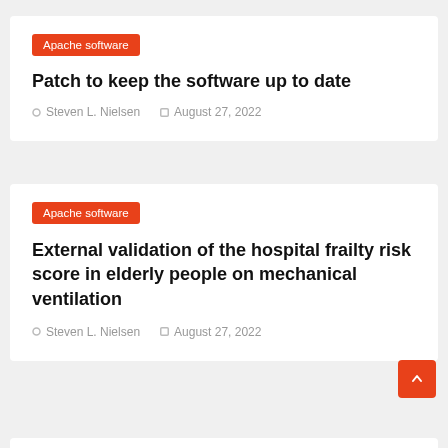Apache software
Patch to keep the software up to date
Steven L. Nielsen   August 27, 2022
Apache software
External validation of the hospital frailty risk score in elderly people on mechanical ventilation
Steven L. Nielsen   August 27, 2022